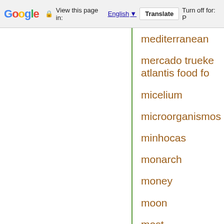Google | View this page in: English | Translate | Turn off for: P
mediterranean
mercado trueke atlantis food fo
micelium
microorganismos
minhocas
monarch
money
moon
most
moçambique
newschool permaculture
newschoolpermies